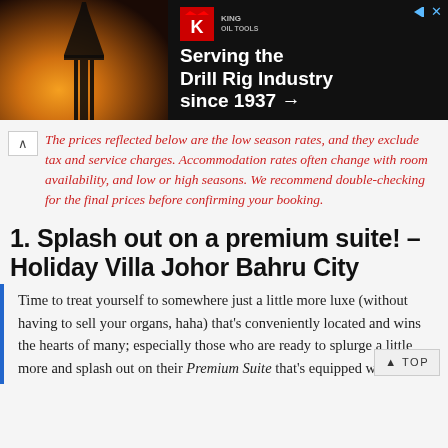[Figure (other): Advertisement banner for King Oil Tools: 'Serving the Drill Rig Industry since 1937 →' with a drill rig silhouette image on the left and red K logo]
The prices reflected below are the low season rates, and they exclude tax and service charges. Accommodation rates often change with room availability, and low or high seasons. We recommend double-checking for the final prices before confirming your booking.
1. Splash out on a premium suite! – Holiday Villa Johor Bahru City
Time to treat yourself to somewhere just a little more luxe (without having to sell your organs, haha) that's conveniently located and wins the hearts of many; especially those who are ready to splurge a little more and splash out on their Premium Suite that's equipped with a